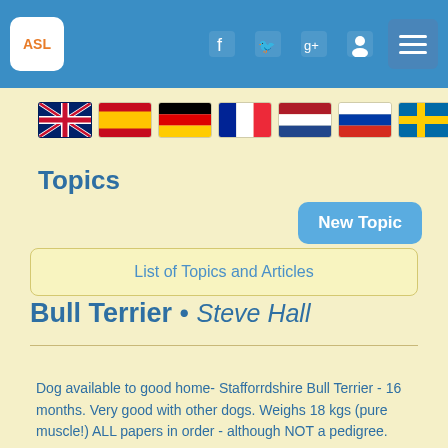ASL navigation bar with logo, social icons, and menu
[Figure (illustration): Row of country flags: UK, Spain, Germany, France, Netherlands, Russia, Sweden]
Topics
New Topic
List of Topics and Articles
Bull Terrier • Steve Hall
Dog available to good home- Stafforrdshire Bull Terrier - 16 months. Very good with other dogs. Weighs 18 kgs (pure muscle!) ALL papers in order - although NOT a pedigree.